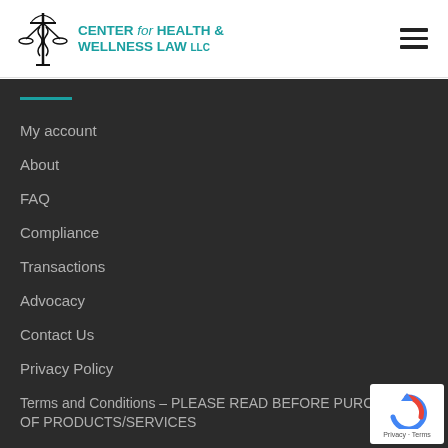CENTER for HEALTH & WELLNESS LAW LLC
My account
About
FAQ
Compliance
Transactions
Advocacy
Contact Us
Privacy Policy
Terms and Conditions – PLEASE READ BEFORE PURCHASE OF PRODUCTS/SERVICES